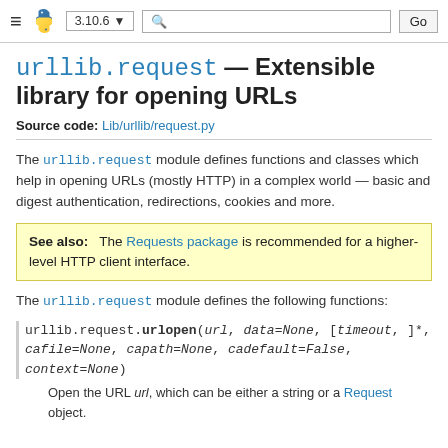≡ [Python logo] 3.10.6 ▼  🔍  Go
urllib.request — Extensible library for opening URLs
Source code: Lib/urllib/request.py
The urllib.request module defines functions and classes which help in opening URLs (mostly HTTP) in a complex world — basic and digest authentication, redirections, cookies and more.
See also: The Requests package is recommended for a higher-level HTTP client interface.
The urllib.request module defines the following functions:
urllib.request.urlopen(url, data=None, [timeout, ]*, cafile=None, capath=None, cadefault=False, context=None)
Open the URL url, which can be either a string or a Request object.